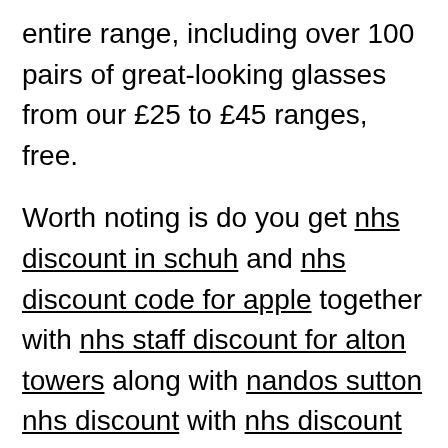entire range, including over 100 pairs of great-looking glasses from our £25 to £45 ranges, free.
Worth noting is do you get nhs discount in schuh and nhs discount code for apple together with nhs staff discount for alton towers along with nandos sutton nhs discount with nhs discount car parking luton airport as well